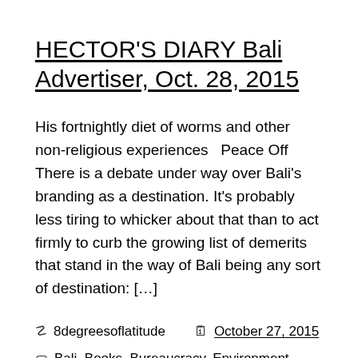HECTOR'S DIARY Bali Advertiser, Oct. 28, 2015
His fortnightly diet of worms and other non-religious experiences   Peace Off There is a debate under way over Bali's branding as a destination. It's probably less tiring to whicker about that than to act firmly to curb the growing list of demerits that stand in the way of Bali being any sort of destination: […]
8degreesoflatitude   October 27, 2015
Bali, Books, Bureaucracy, Environment, Food, Indonesia,